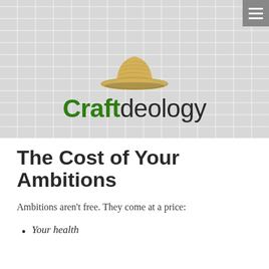[Figure (photo): Website header banner showing a straw hat hanging against a white brick wall background, with the Craftdeology logo below it in green and dark text]
The Cost of Your Ambitions
Ambitions aren't free. They come at a price:
Your health